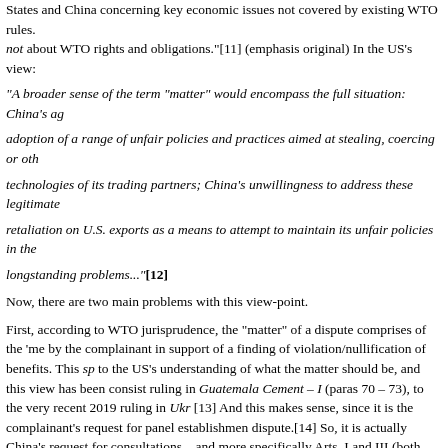States and China concerning key economic issues not covered by existing WTO rules. not about WTO rights and obligations."[11] (emphasis original) In the US's view:
"A broader sense of the term "matter" would encompass the full situation: China's ag adoption of a range of unfair policies and practices aimed at stealing, coercing or oth technologies of its trading partners; China's unwillingness to address these legitimate retaliation on U.S. exports as a means to attempt to maintain its unfair policies in the longstanding problems..."[12]
Now, there are two main problems with this view-point.
First, according to WTO jurisprudence, the "matter" of a dispute comprises of the 'me by the complainant in support of a finding of violation/nullification of benefits. This sp to the US's understanding of what the matter should be, and this view has been consist ruling in Guatemala Cement – I (paras 70 – 73), to the very recent 2019 ruling in Ukr [13] And this makes sense, since it is the complainant's request for panel establishment dispute.[14] So, it is actually China's request for consultations – and more specifically Arts. I and III (both wings of the non-discrimination principle) in its request for a pan is capable of resolution by the WTO or not. And on this point it bears note that nowhe it did not act contrary to these provisions.
Second, as pointed out by the EU in its third party submission (TPS, para 17) - what th